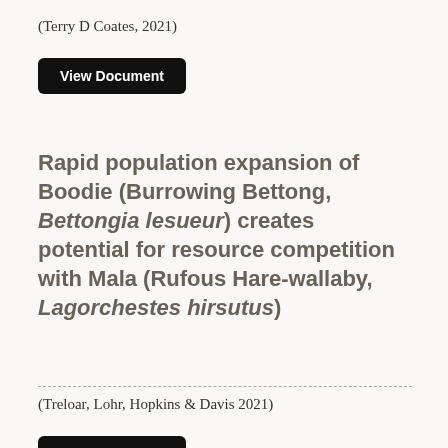(Terry D Coates, 2021)
View Document
Rapid population expansion of Boodie (Burrowing Bettong, Bettongia lesueur) creates potential for resource competition with Mala (Rufous Hare-wallaby, Lagorchestes hirsutus)
(Treloar, Lohr, Hopkins & Davis 2021)
View Document